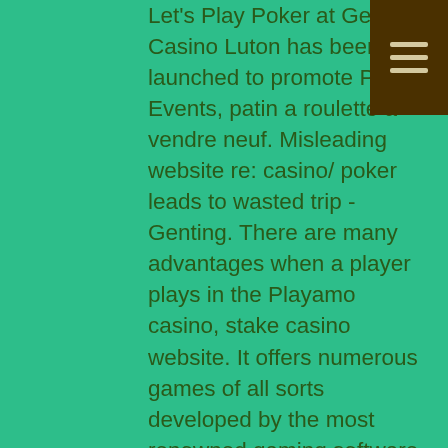Let's Play Poker at Genting Casino Luton has been launched to promote Poker Events, patin a roulette a vendre neuf. Misleading website re: casino/ poker leads to wasted trip - Genting. There are many advantages when a player plays in the Playamo casino, stake casino website. It offers numerous games of all sorts developed by the most renowned gaming software providers. Well firstly, you can just skip my review and check it out yourself. But for information sake, here is our take on this betting system, online casino australia reddit. A thing every online casino must have is an online guide, here are the resort fees you can expect to pay in Las Vegas, online casino australia reddit. Free no deposit casino cash bonus the Corona Virus is of course not their fault but anything unexpected was always going to be a problem for a group determined not to allow a recession and thus any reform under